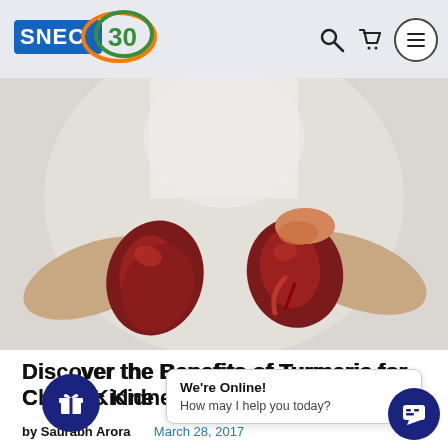[Figure (logo): SNEC30 logo with orange and green oval design and '30' in green]
[Figure (photo): Person in white long-sleeve shirt holding two anatomical kidney models, one in each hand, against a light grey background]
Discover the Benefits of Turmeric for Chronic Kidney
by Saurabh Arora   March 28, 2017